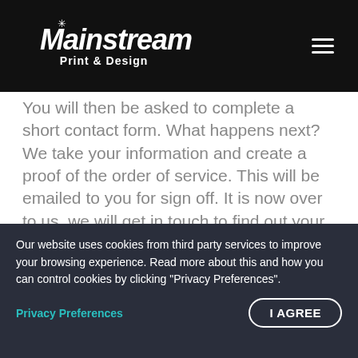Mainstream Print & Design
You will then be asked to complete a short contact form. What happens next? We take your information and create a proof of the order of service. This will be emailed to you for sign off. It is now over to us, we will get in touch to find out your requirements.

All scanning of photographs, retouching, typesetting and text is free of charge &
Our website uses cookies from third party services to improve your browsing experience. Read more about this and how you can control cookies by clicking "Privacy Preferences".
Privacy Preferences
I AGREE